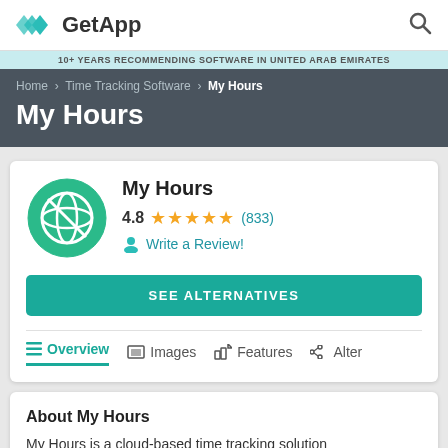GetApp
10+ YEARS RECOMMENDING SOFTWARE IN UNITED ARAB EMIRATES
Home › Time Tracking Software › My Hours
My Hours
My Hours
4.8 ★★★★★ (833)
Write a Review!
SEE ALTERNATIVES
Overview   Images   Features   Alter
About My Hours
My Hours is a cloud-based time tracking solution